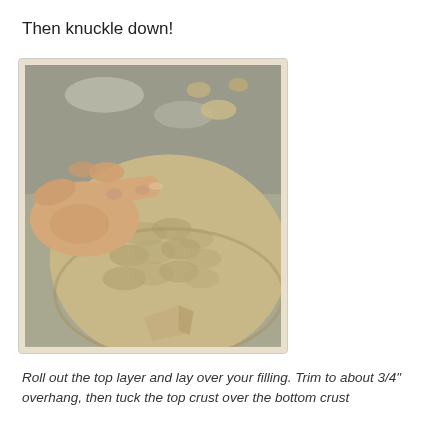Then knuckle down!
[Figure (photo): A hand with knuckles pressing into raw pie dough/crust, showing the crimping technique on what appears to be a pie on a floured surface.]
Roll out the top layer and lay over your filling. Trim to about 3/4" overhang, then tuck the top crust over the bottom crust